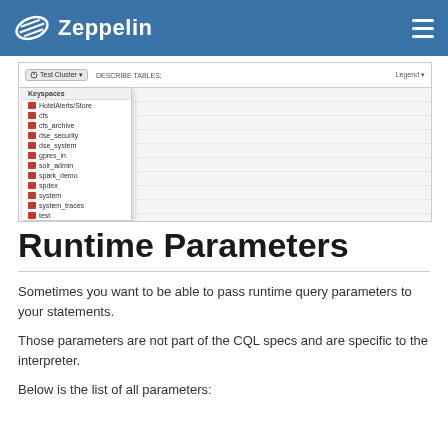Zeppelin
[Figure (screenshot): Screenshot of Zeppelin UI showing a CQL query interface with a dropdown list of keyspaces including HotelAlerts/Store, cfs, cfs_archive, dse_security, dse_system, gpres_in, solr_admin, spark_demo, spdex, system, system_traces, test. The toolbar shows 'Test Cluster' button and 'DESCRIBE TABLES;' query with a Legend button on the right.]
Runtime Parameters
Sometimes you want to be able to pass runtime query parameters to your statements.
Those parameters are not part of the CQL specs and are specific to the interpreter.
Below is the list of all parameters: